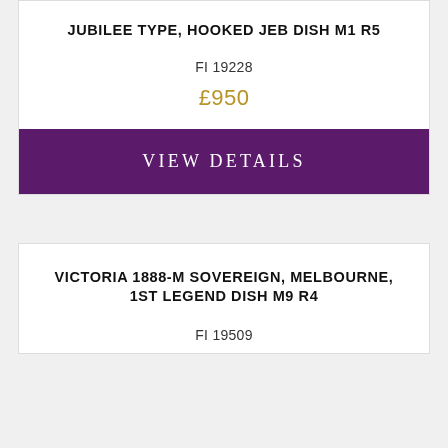JUBILEE TYPE, HOOKED JEB DISH M1 R5
FI 19228
£950
VIEW DETAILS
VICTORIA 1888-M SOVEREIGN, MELBOURNE, 1ST LEGEND DISH M9 R4
FI 19509